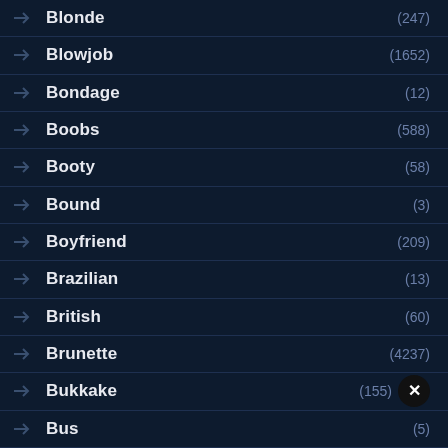Blonde (247)
Blowjob (1652)
Bondage (12)
Boobs (588)
Booty (58)
Bound (3)
Boyfriend (209)
Brazilian (13)
British (60)
Brunette (4237)
Bukkake (155)
Bus (5)